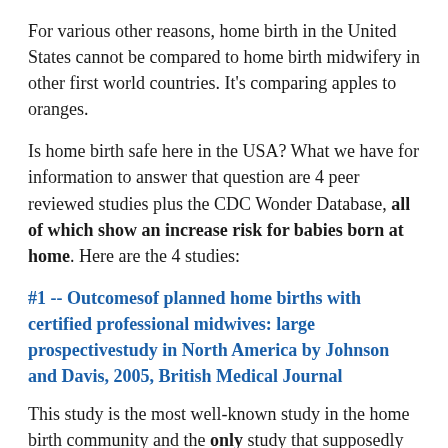For various other reasons, home birth in the United States cannot be compared to home birth midwifery in other first world countries. It's comparing apples to oranges.
Is home birth safe here in the USA? What we have for information to answer that question are 4 peer reviewed studies plus the CDC Wonder Database, all of which show an increase risk for babies born at home. Here are the 4 studies:
#1 -- Outcomesof planned home births with certified professional midwives: large prospectivestudy in North America by Johnson and Davis, 2005, British Medical Journal
This study is the most well-known study in the home birth community and the only study that supposedly shows the proof that "home birth is just as safe as hospital birth." But this study has two fatal flaws and it